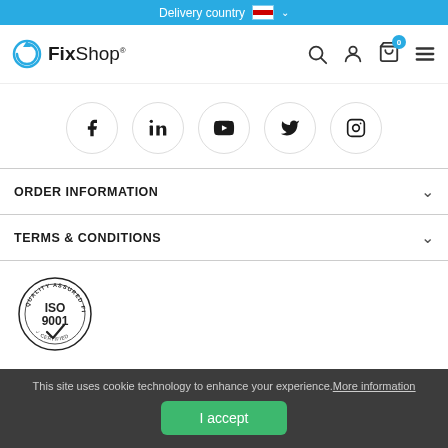Delivery country (Austria)
[Figure (logo): FixShop logo with circular refresh icon]
[Figure (infographic): Social media icons: Facebook, LinkedIn, YouTube, Twitter, Instagram in circular borders]
ORDER INFORMATION
TERMS & CONDITIONS
[Figure (logo): ISO 9001 Quality Assured Team circular stamp logo]
© 2022 www.fixshop.eu  All Rights Reserved
This site uses cookie technology to enhance your experience. More information
I accept